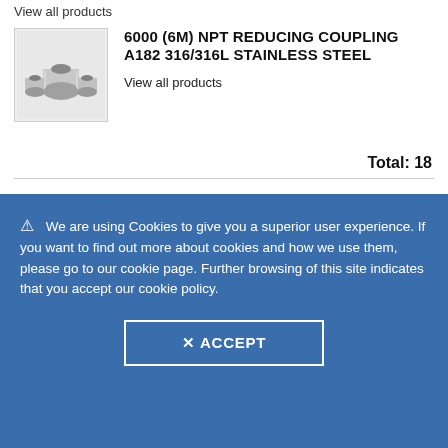View all products
[Figure (photo): Photo of stainless steel NPT reducing couplings, multiple pieces shown]
6000 (6M) NPT REDUCING COUPLING A182 316/316L STAINLESS STEEL
View all products
Total: 18
We are using Cookies to give you a superior user experience. If you want to find out more about cookies and how we use them, please go to our cookie page. Further browsing of this site indicates that you accept our cookie policy.
✕ ACCEPT